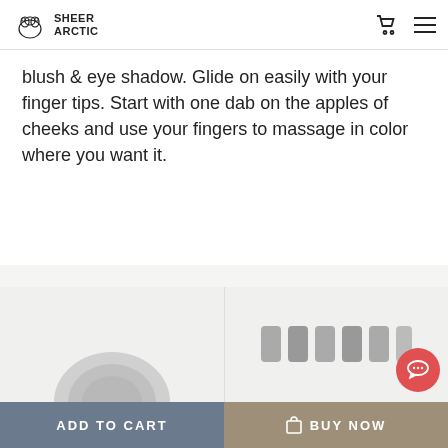Sheer Arctic
blush & eye shadow. Glide on easily with your finger tips. Start with one dab on the apples of cheeks and use your fingers to massage in color where you want it.
Related Products
[Figure (photo): Partial view of a product thumbnail - round white/silver compact]
[Figure (photo): Partial view of product thumbnails - small metallic cylinders in a row]
ADD TO CART   BUY NOW